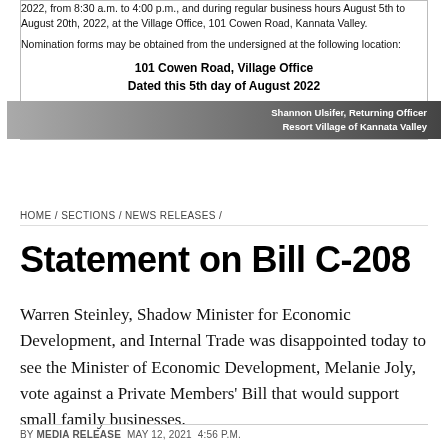2022, from 8:30 a.m. to 4:00 p.m., and during regular business hours August 5th to August 20th, 2022, at the Village Office, 101 Cowen Road, Kannata Valley.
Nomination forms may be obtained from the undersigned at the following location:
101 Cowen Road, Village Office
Dated this 5th day of August 2022
Shannon Ulsifer, Returning Officer
Resort Village of Kannata Valley
HOME / SECTIONS / NEWS RELEASES /
Statement on Bill C-208
Warren Steinley, Shadow Minister for Economic Development, and Internal Trade was disappointed today to see the Minister of Economic Development, Melanie Joly, vote against a Private Members' Bill that would support small family businesses.
BY MEDIA RELEASE  MAY 12, 2021  4:56 P.M.